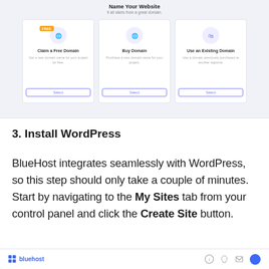[Figure (screenshot): Bluehost 'Name Your Website' domain selection screen showing three cards: Claim a Free Domain, Buy Domain, and Use an Existing Domain, each with a Select button.]
3. Install WordPress
BlueHost integrates seamlessly with WordPress, so this step should only take a couple of minutes. Start by navigating to the My Sites tab from your control panel and click the Create Site button.
bluehost